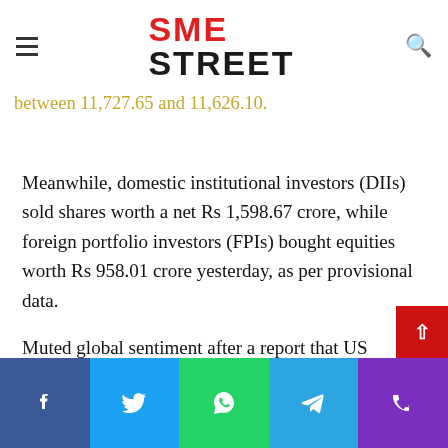SME STREET — navigation header with hamburger menu and search icon
gains of 3.82 pts, or 0.03 per cent, at 11,680.50. Intra-day, it moved between 11,727.65 and 11,626.10.
Meanwhile, domestic institutional investors (DIIs) sold shares worth a net Rs 1,598.67 crore, while foreign portfolio investors (FPIs) bought equities worth Rs 958.01 crore yesterday, as per provisional data.
Muted global sentiment after a report that US President Donald Trump was preparing to impose more tariffs on China mainly hurt trading activities here.
The rupee crashed to a record low of 71 per dollar intra-day, tracking weakness in almost all other Asian peers following the latest round of US-China trade tensions and robust month-end demand for the American
Social share bar: Facebook, Twitter, WhatsApp, Telegram, Phone